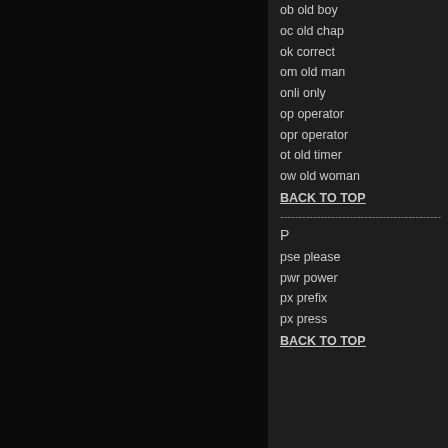ob old boy
oc old chap
ok correct
om old man
onli only
op operator
opr operator
ot old timer
ow old woman
BACK TO TOP
--------------------------------------------
P
pse please
pwr power
px prefix
px press
BACK TO TOP